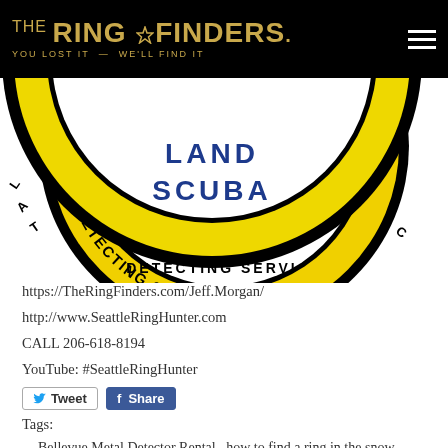THE RING FINDERS. YOU LOST IT WE'LL FIND IT
[Figure (logo): The Ring Finders circular badge logo showing LAND SCUBA METAL DETECTING SERVICE text around a yellow and black circle]
https://TheRingFinders.com/Jeff.Morgan/
http://www.SeattleRingHunter.com
CALL 206-618-8194
YouTube: #SeattleRingHunter
Tweet  Share
Tags:
Bellevue Metal Detector Rental,  how to find a ring in the snow,  Lost Venkateswara Temple Ring,  SeattleRingHunter
Category:  The Ring Finders,  Youtube Videos